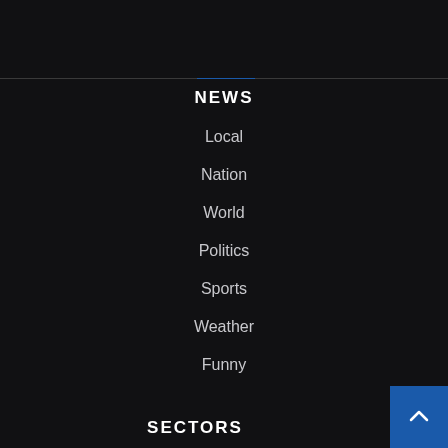NEWS
Local
Nation
World
Politics
Sports
Weather
Funny
SECTORS